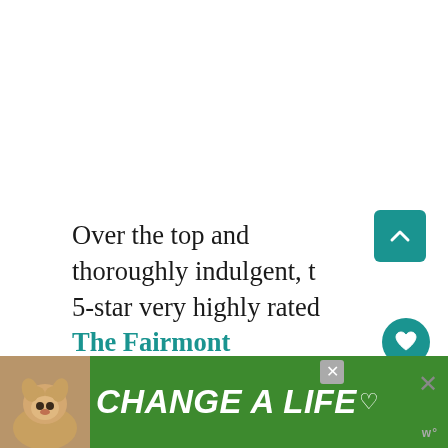Over the top and thoroughly indulgent, the 5-star very highly rated The Fairmont Hotel offers a lifestyle experience that will make your trip to Dubai complete.
With more than a dozen bars and restaurants, a state-of-the-art fitness
[Figure (other): Advertisement banner with green background showing a dog photo and text 'CHANGE A LIFE' in white bold italic font]